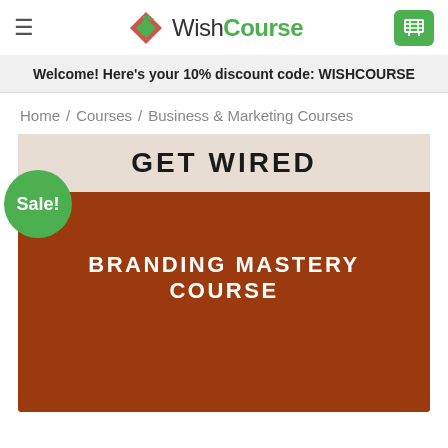WishCourse
Welcome! Here's your 10% discount code: WISHCOURSE
Home / Courses / Business & Marketing Courses
[Figure (screenshot): Course product image with brown/rust background showing 'GET WIRED' in a beige banner and 'BRANDING MASTERY COURSE' in white bold text below. A green 'Sale!' badge overlays the top-left corner.]